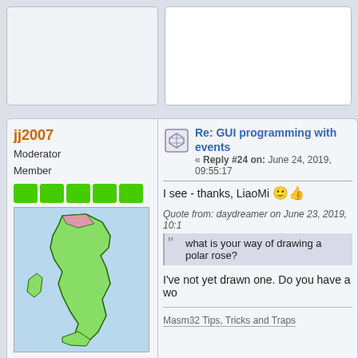jj2007
Moderator
Member
[Figure (map): Map of Italy in green on light blue background]
Posts: 12752
Assembler is fun ;-)
Re: GUI programming with events
« Reply #24 on: June 24, 2019, 09:55:17
I see - thanks, LiaoMi 😊👍
Quote from: daydreamer on June 23, 2019, 10:1
what is your way of drawing a polar rose?
I've not yet drawn one. Do you have a wo
Masm32 Tips, Tricks and Traps
LiaoMi
Member
Re: GUI programming with events
« Reply #25 on: June 24, 2019, 08:29:28
Quote from: jj2007 on June 24, 2019, 09:55:17 A
I see - thanks, LiaoMi 😊👍